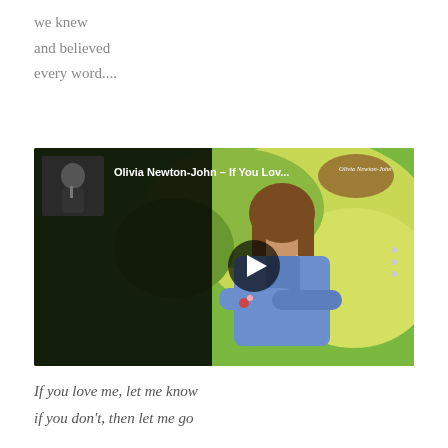we knew
and believed
every word....
[Figure (screenshot): YouTube-style embedded video player showing Olivia Newton-John album art. Title overlay reads 'Olivia Newton-John - If You Lov...' with a small performer thumbnail in the dark left panel, play button in center, and three-dot menu on right. Background shows a woman with long brown hair in a blue denim shirt with arms crossed against a green nature backdrop. Top right has a circular ONJ logo stamp.]
If you love me, let me know
if you don't, then let me go